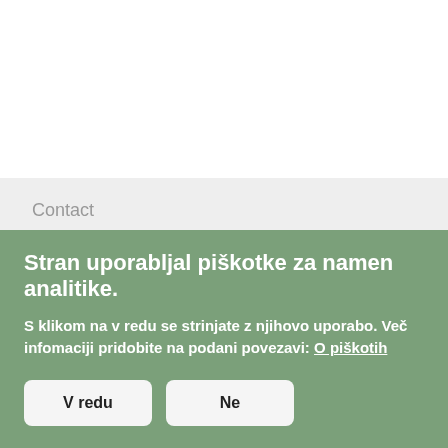Contact
Agencija RS za okolje
Vojkova 1b
1000 Ljubljana, Slovenija
T +386 (0)1 4784 000
Stran uporabljal piškotke za namen analitike.
S klikom na v redu se strinjate z njihovo uporabo. Več infomaciji pridobite na podani povezavi: O piškotih
V redu   Ne